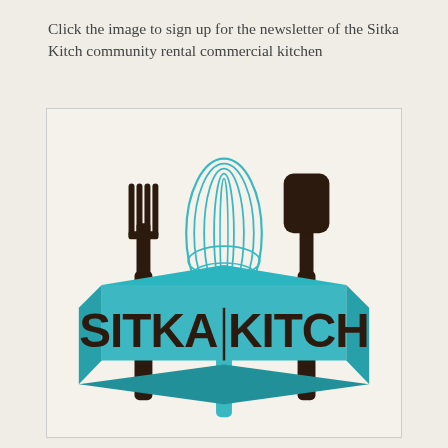Click the image to sign up for the newsletter of the Sitka Kitch community rental commercial kitchen
[Figure (logo): Sitka Kitch community rental commercial kitchen logo featuring a fork (dark brown) on the left, a whisk (teal/turquoise) in the center top, a spatula (dark brown) on the right, and a 3D perspective banner/box in teal with dark brown text reading SITKA KITCH in large bold letters.]